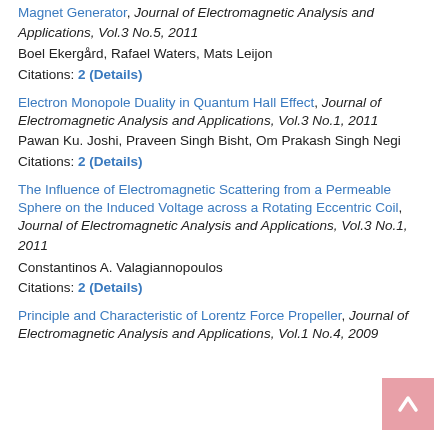Magnet Generator, Journal of Electromagnetic Analysis and Applications, Vol.3 No.5, 2011
Boel Ekergård, Rafael Waters, Mats Leijon
Citations: 2 (Details)
Electron Monopole Duality in Quantum Hall Effect, Journal of Electromagnetic Analysis and Applications, Vol.3 No.1, 2011
Pawan Ku. Joshi, Praveen Singh Bisht, Om Prakash Singh Negi
Citations: 2 (Details)
The Influence of Electromagnetic Scattering from a Permeable Sphere on the Induced Voltage across a Rotating Eccentric Coil, Journal of Electromagnetic Analysis and Applications, Vol.3 No.1, 2011
Constantinos A. Valagiannopoulos
Citations: 2 (Details)
Principle and Characteristic of Lorentz Force Propeller, Journal of Electromagnetic Analysis and Applications, Vol.1 No.4, 2009